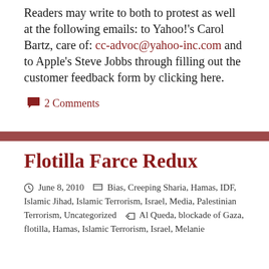Readers may write to both to protest as well at the following emails: to Yahoo!'s Carol Bartz, care of: cc-advoc@yahoo-inc.com and to Apple's Steve Jobbs through filling out the customer feedback form by clicking here.
2 Comments
Flotilla Farce Redux
June 8, 2010   Bias, Creeping Sharia, Hamas, IDF, Islamic Jihad, Islamic Terrorism, Israel, Media, Palestinian Terrorism, Uncategorized   Al Queda, blockade of Gaza, flotilla, Hamas, Islamic Terrorism, Israel, Melanie